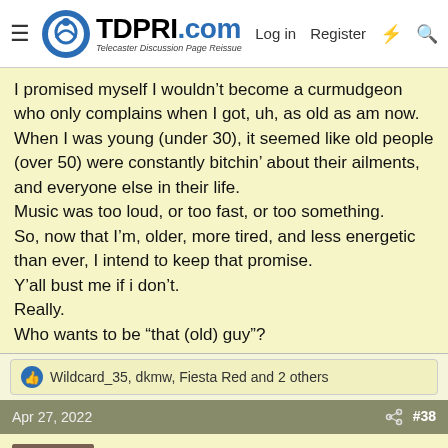TDPRI.com — Telecaster Discussion Page Reissue | Log in | Register
I promised myself I wouldn't become a curmudgeon who only complains when I got, uh, as old as am now.
When I was young (under 30), it seemed like old people (over 50) were constantly bitchin' about their ailments, and everyone else in their life.
Music was too loud, or too fast, or too something.
So, now that I'm, older, more tired, and less energetic than ever, I intend to keep that promise.
Y'all bust me if i don't.
Really.
Who wants to be “that (old) guy”?
👍 Wildcard_35, dkmw, Fiesta Red and 2 others
Apr 27, 2022  #38
MickM
Poster Extraordinaire  Platinum Supporter